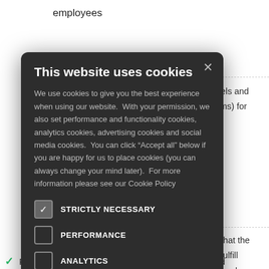employees
n channels and echanisms) for garding
[Figure (screenshot): Cookie consent modal dialog with dark background. Title: 'This website uses cookies'. Body text explains use of cookies and permissions. Five checkbox rows: STRICTLY NECESSARY (checked), PERFORMANCE (unchecked), ANALYTICS (unchecked), FUNCTIONALITY (unchecked), SOCIAL MEDIA (unchecked). Close X button top right.]
ctivities that the COP to fulfill metrics, and
ctices
st
in the area of
Reference to relevant international conventions and